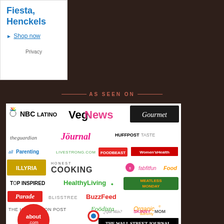[Figure (other): Advertisement box with 'Fiesta, Henckels' heading and Shop now link and Privacy text]
AS SEEN ON
[Figure (infographic): Media logos collage showing NBC Latino, VegNews, Gourmet, the guardian, Journal, HuffPost Taste, allParenting, Livestrong.com, Foodbeast, Women's Health, ILLYRIA, Honest Cooking, fabfitfun, Food, TOP INSPIRED, HealthyLiving, Meatless Monday, Parade, Blisstree, BuzzFeed, The Huffington Post, Foodista, Organic Authority, about.com, Que Mas, SkinnyMom, The Wall Street Journal, Gourmet, The Local, the kitchn]